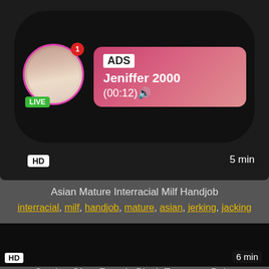[Figure (screenshot): Advertisement banner with circular avatar photo of a young woman, LIVE green badge, ADS label, username Jeniffer 2000, time (00:12), HD badge, 5 min duration, on dark background]
Asian Mature Interracial Milf Handjob
interracial, milf, handjob, mature, asian, jerking, jacking
[Figure (screenshot): Dark/black video thumbnail, HD badge bottom left, 6 min badge bottom right]
Casting Cfnm Female Black European Babe